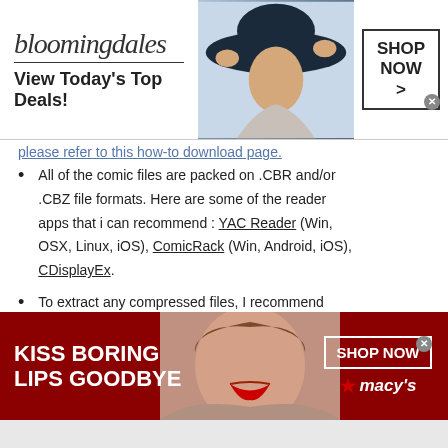[Figure (screenshot): Bloomingdale's advertisement banner with logo, model in wide-brim hat, and 'SHOP NOW >' button. Text: 'View Today's Top Deals!']
please refer to this how-to download page.
All of the comic files are packed on .CBR and/or .CBZ file formats. Here are some of the reader apps that i can recommend : YAC Reader (Win, OSX, Linux, iOS), ComicRack (Win, Android, iOS), CDisplayEx.
To extract any compressed files, I recommend using 7-Zip.
If you encounter any broken links or corrupt files,
[Figure (screenshot): Macy's advertisement banner: 'KISS BORING LIPS GOODBYE' with model face, 'SHOP NOW' button, and Macy's star logo on dark red background.]